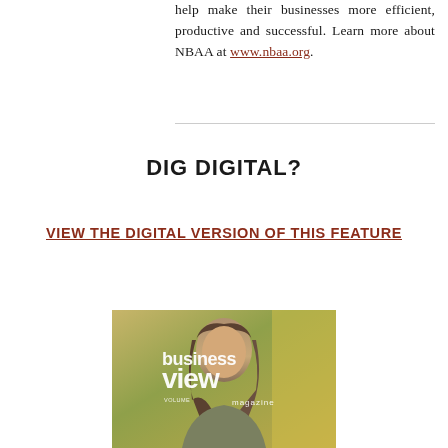help make their businesses more efficient, productive and successful. Learn more about NBAA at www.nbaa.org.
DIG DIGITAL?
VIEW THE DIGITAL VERSION OF THIS FEATURE
[Figure (photo): Cover of Business View Magazine showing a person with long hair, with the text 'business view magazine' and 'VOLUME' visible]